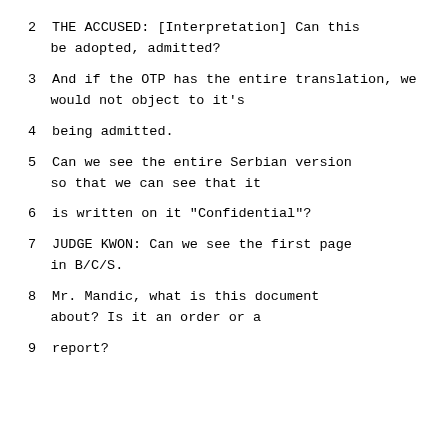2    THE ACCUSED: [Interpretation]  Can this be adopted, admitted?
3    And if the OTP has the entire translation, we would not object to it's
4    being admitted.
5    Can we see the entire Serbian version so that we can see that it
6    is written on it "Confidential"?
7    JUDGE KWON:  Can we see the first page in B/C/S.
8    Mr. Mandic, what is this document about?  Is it an order or a
9    report?